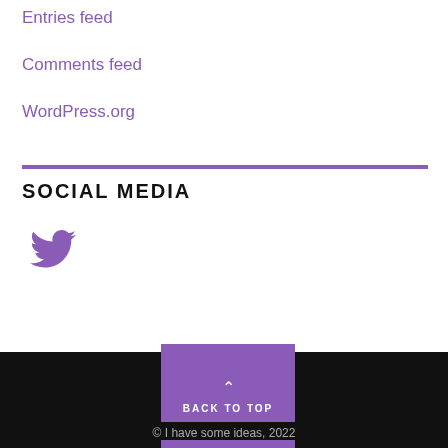Entries feed
Comments feed
WordPress.org
SOCIAL MEDIA
[Figure (illustration): Twitter bird icon in purple]
BACK TO TOP
© I have some ideas, 2022